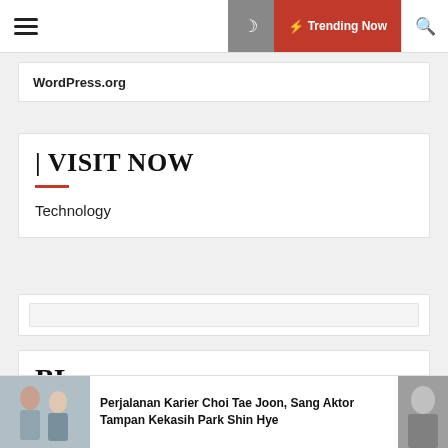WordPress.org | ⚡ Trending Now
WordPress.org
| VISIT NOW
Technology
BL
Perjalanan Karier Choi Tae Joon, Sang Aktor Tampan Kekasih Park Shin Hye